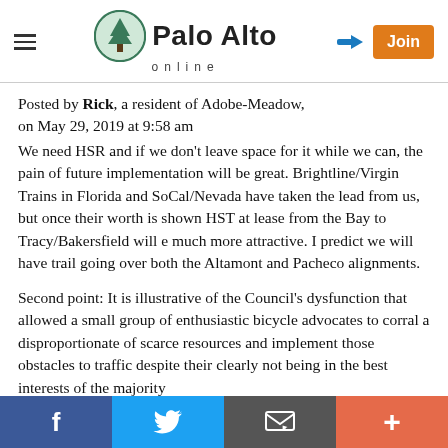Palo Alto online
Posted by Rick, a resident of Adobe-Meadow, on May 29, 2019 at 9:58 am
We need HSR and if we don't leave space for it while we can, the pain of future implementation will be great. Brightline/Virgin Trains in Florida and SoCal/Nevada have taken the lead from us, but once their worth is shown HST at lease from the Bay to Tracy/Bakersfield will e much more attractive. I predict we will have trail going over both the Altamont and Pacheco alignments.

Second point: It is illustrative of the Council's dysfunction that allowed a small group of enthusiastic bicycle advocates to corral a disproportionate of scarce resources and implement those obstacles to traffic despite their clearly not being in the best interests of the majority
Facebook | Twitter | Email | +